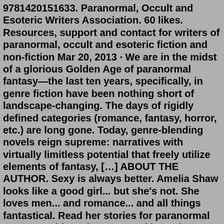9781420151633. Paranormal, Occult and Esoteric Writers Association. 60 likes. Resources, support and contact for writers of paranormal, occult and esoteric fiction and non-fiction Mar 20, 2013 · We are in the midst of a glorious Golden Age of paranormal fantasy—the last ten years, specifically, in genre fiction have been nothing short of landscape-changing. The days of rigidly defined categories (romance, fantasy, horror, etc.) are long gone. Today, genre-blending novels reign supreme: narratives with virtually limitless potential that freely utilize elements of fantasy, […] ABOUT THE AUTHOR. Sexy is always better. Amelia Shaw looks like a good girl... but she's not. She loves men... and romance... and all things fantastical. Read her stories for paranormal romance with perfect men and imperfect women. Fast paced, action packed and character driven stories with guaranteed happily ever afters... American writers on paranormal topics. Subcategories. This category has the following 4 subcategories, out of 4 total. A. American paranormal romance writers (24 P) E. I